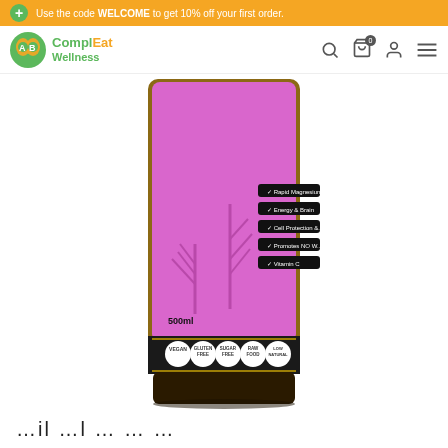Use the code WELCOME to get 10% off your first order.
[Figure (logo): ComplEat Wellness logo with green and orange circular icon]
[Figure (photo): A product bottle with purple/pink label showing trees, featuring badges: Vegan, Gluten Free, Sugar Free, Raw Food, Low Natural. Label reads 500ml. Checkmark list visible on label side.]
…il …l … … …